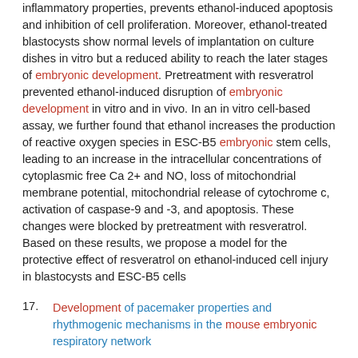inflammatory properties, prevents ethanol-induced apoptosis and inhibition of cell proliferation. Moreover, ethanol-treated blastocysts show normal levels of implantation on culture dishes in vitro but a reduced ability to reach the later stages of embryonic development. Pretreatment with resveratrol prevented ethanol-induced disruption of embryonic development in vitro and in vivo. In an in vitro cell-based assay, we further found that ethanol increases the production of reactive oxygen species in ESC-B5 embryonic stem cells, leading to an increase in the intracellular concentrations of cytoplasmic free Ca 2+ and NO, loss of mitochondrial membrane potential, mitochondrial release of cytochrome c, activation of caspase-9 and -3, and apoptosis. These changes were blocked by pretreatment with resveratrol. Based on these results, we propose a model for the protective effect of resveratrol on ethanol-induced cell injury in blastocysts and ESC-B5 cells
17. Development of pacemaker properties and rhythmogenic mechanisms in the mouse embryonic respiratory network
Science.gov (United States)
Chevalier, Marc; Toporikova, Natalia; Simmers, John; Thoby